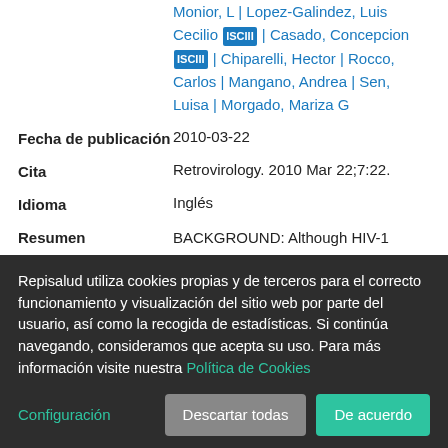Authors: Monior, L | Lopez-Galindez, Luis Cecilio [ISCIII] | Casado, Concepcion [ISCIII] | Chiparelli, Hector | Rocco, Carlos | Mangano, Andrea | Sen, Luisa | Morgado, Mariza G
Fecha de publicación: 2010-03-22
Cita: Retrovirology. 2010 Mar 22;7:22.
Idioma: Inglés
Resumen: BACKGROUND: Although HIV-1 CRF12_BF and CRF38_BF are two epidemiologically important
Repisalud utiliza cookies propias y de terceros para el correcto funcionamiento y visualización del sitio web por parte del usuario, así como la recogida de estadísticas. Si continúa navegando, consideramos que acepta su uso. Para más información visite nuestra Política de Cookies